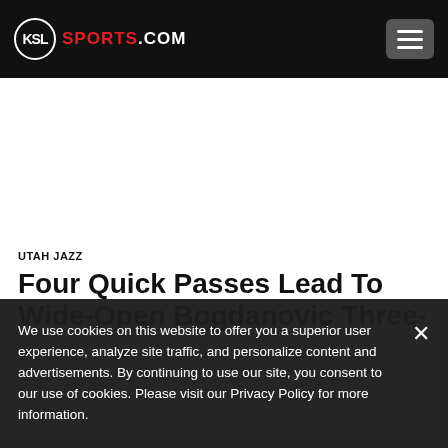KSL SPORTS.COM
UTAH JAZZ
Four Quick Passes Lead To Wide-Open Bogdanovic Three-Pointer
We use cookies on this website to offer you a superior user experience, analyze site traffic, and personalize content and advertisements. By continuing to use our site, you consent to our use of cookies. Please visit our Privacy Policy for more information.